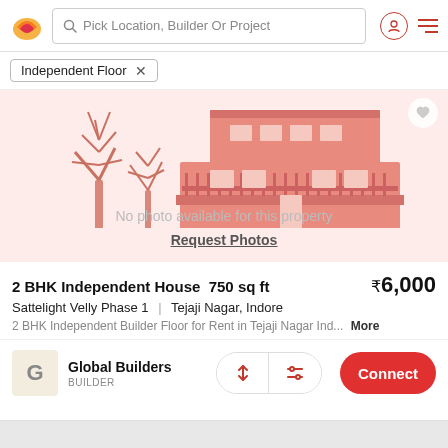Pick Location, Builder Or Project
Independent Floor ×
[Figure (illustration): Real estate app listing placeholder image: illustrated building with pink/salmon colored multi-story house flanked by stylized pink and grey trees on a pink-tinted background. Text: 'No photo available for this property' and 'Request Photos']
2 BHK Independent House  750 sq ft	₹6,000
Sattelight Velly Phase 1  |  Tejaji Nagar, Indore
2 BHK Independent Builder Floor for Rent in Tejaji Nagar Ind...  More
Global Builders
BUILDER